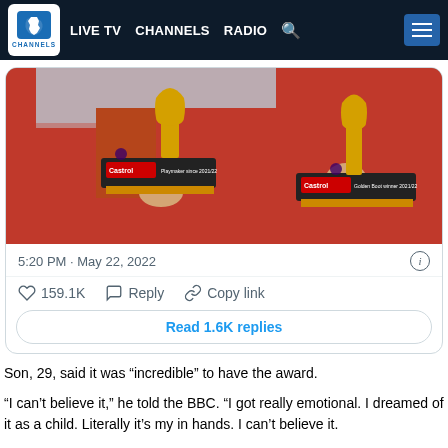LIVE TV   CHANNELS   RADIO
[Figure (screenshot): Screenshot of a tweet showing a person in a red shirt holding two Premier League trophies (Castrol Playmaker and Golden Boot awards). Tweet timestamp: 5:20 PM · May 22, 2022. Likes: 159.1K. Reply and Copy link buttons. Read 1.6K replies button.]
Son, 29, said it was “incredible” to have the award.
“I can’t believe it,” he told the BBC. “I got really emotional. I dreamed of it as a child. Literally it’s my in hands. I can’t believe it.
“Until my goal I was really frustrated that I missed big chances. I told the players I missed the easiest chances and scored one of the toughest